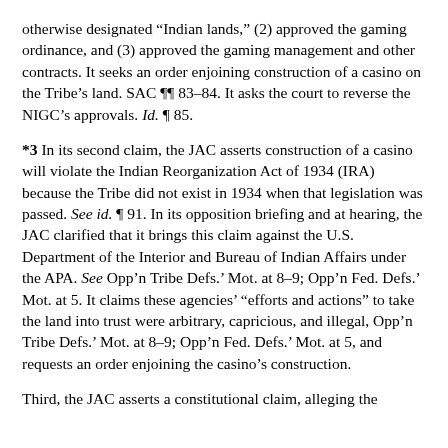otherwise designated “Indian lands,” (2) approved the gaming ordinance, and (3) approved the gaming management and other contracts. It seeks an order enjoining construction of a casino on the Tribe’s land. SAC ¶¶ 83–84. It asks the court to reverse the NIGC’s approvals. Id. ¶ 85.
*3 In its second claim, the JAC asserts construction of a casino will violate the Indian Reorganization Act of 1934 (IRA) because the Tribe did not exist in 1934 when that legislation was passed. See id. ¶ 91. In its opposition briefing and at hearing, the JAC clarified that it brings this claim against the U.S. Department of the Interior and Bureau of Indian Affairs under the APA. See Opp’n Tribe Defs.’ Mot. at 8–9; Opp’n Fed. Defs.’ Mot. at 5. It claims these agencies’ “efforts and actions” to take the land into trust were arbitrary, capricious, and illegal, Opp’n Tribe Defs.’ Mot. at 8–9; Opp’n Fed. Defs.’ Mot. at 5, and requests an order enjoining the casino’s construction.
Third, the JAC asserts a constitutional claim, alleging the